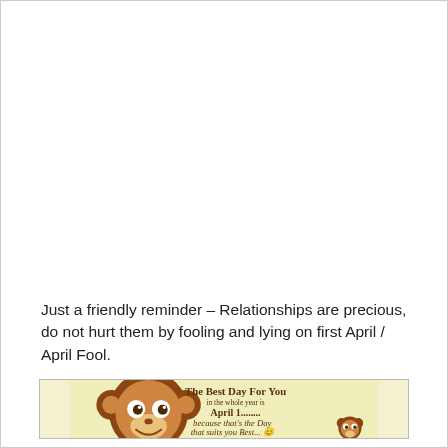Just a friendly reminder – Relationships are precious, do not hurt them by fooling and lying on first April / April Fool.
[Figure (illustration): Cartoon image with a light yellow-green background showing a large cute cartoon monkey face on the left, and text on the right reading 'The Best Day For You in the whole year is April 1........ because that's the Day that suits you Best...😊'. A smaller cartoon monkey face appears at the bottom right.]